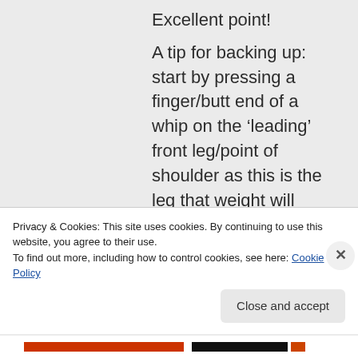Excellent point!

A tip for backing up: start by pressing a finger/butt end of a whip on the ‘leading’ front leg/point of shoulder as this is the leg that weight will naturally shift off first before taking the
Privacy & Cookies: This site uses cookies. By continuing to use this website, you agree to their use.
To find out more, including how to control cookies, see here: Cookie Policy